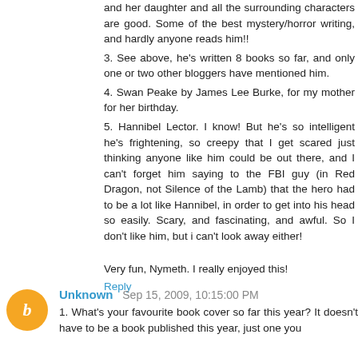and her daughter and all the surrounding characters are good. Some of the best mystery/horror writing, and hardly anyone reads him!!
3. See above, he's written 8 books so far, and only one or two other bloggers have mentioned him.
4. Swan Peake by James Lee Burke, for my mother for her birthday.
5. Hannibel Lector. I know! But he's so intelligent he's frightening, so creepy that I get scared just thinking anyone like him could be out there, and I can't forget him saying to the FBI guy (in Red Dragon, not Silence of the Lamb) that the hero had to be a lot like Hannibel, in order to get into his head so easily. Scary, and fascinating, and awful. So I don't like him, but i can't look away either!
Very fun, Nymeth. I really enjoyed this!
Reply
Unknown Sep 15, 2009, 10:15:00 PM
1. What's your favourite book cover so far this year? It doesn't have to be a book published this year, just one you